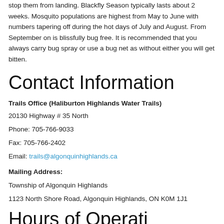stop them from landing. Blackfly Season typically lasts about 2 weeks. Mosquito populations are highest from May to June with numbers tapering off during the hot days of July and August. From September on is blissfully bug free. It is recommended that you always carry bug spray or use a bug net as without either you will get bitten.
Contact Information
Trails Office (Haliburton Highlands Water Trails)
20130 Highway # 35 North
Phone: 705-766-9033
Fax: 705-766-2402
Email: trails@algonquinhighlands.ca
Mailing Address:
Township of Algonquin Highlands
1123 North Shore Road, Algonquin Highlands, ON K0M 1J1
Hours of Operation